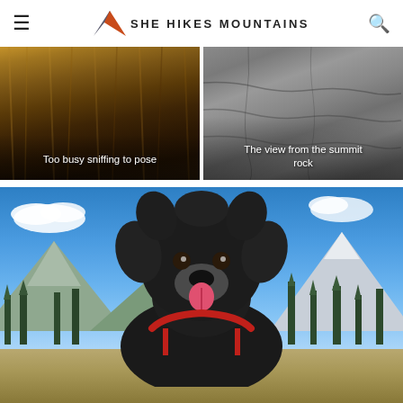SHE HIKES MOUNTAINS
[Figure (photo): Close-up of animal fur, dark brown and golden tones. Caption: Too busy sniffing to pose]
[Figure (photo): Rocky summit surface with cracked granite. Caption: The view from the summit rock]
[Figure (photo): Large black fluffy dog (Newfoundland) looking at camera with tongue out, wearing a red harness, standing outdoors with blue sky, mountains, and conifer trees in background]